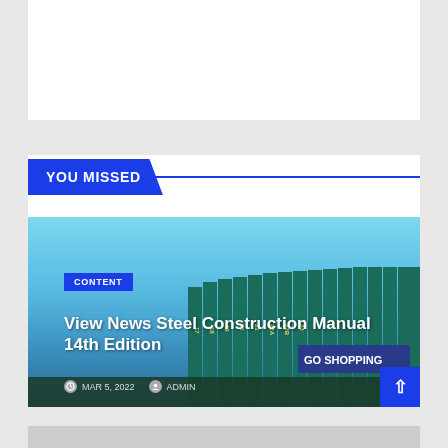[Figure (screenshot): White rectangular advertisement placeholder at top of page]
YOU MISSED
[Figure (photo): Book shelf image with steel construction manuals lined up, light blue background, GO SHOPPING button overlay]
CONTENT
View News Steel Construction Manual 14th Edition
MAR 5, 2022   ADMIN